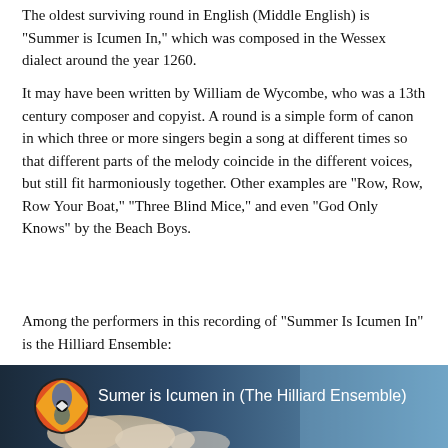The oldest surviving round in English (Middle English) is "Summer is Icumen In," which was composed in the Wessex dialect around the year 1260.
It may have been written by William de Wycombe, who was a 13th century composer and copyist. A round is a simple form of canon in which three or more singers begin a song at different times so that different parts of the melody coincide in the different voices, but still fit harmoniously together. Other examples are "Row, Row, Row Your Boat," "Three Blind Mice," and even "God Only Knows" by the Beach Boys.
Among the performers in this recording of "Summer Is Icumen In" is the Hilliard Ensemble:
[Figure (screenshot): Video thumbnail showing 'Sumer is Icumen in (The Hilliard Ensemble)' with a circular colorful icon on the left and a sky/clouds background image.]